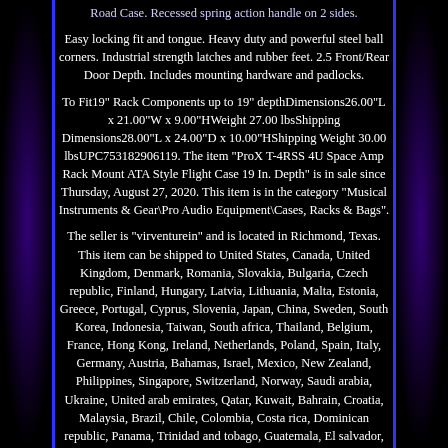Road Case. Recessed spring action handle on 2 sides.
Easy locking fit and tongue. Heavy duty and powerful steel ball corners. Industrial strength latches and rubber feet. 2.5 Front/Rear Door Depth. Includes mounting hardware and padlocks.
To Fit19" Rack Components up to 19" depthDimensions26.00"L x 21.00"W x 9.00"HWeight 27.00 lbsShipping Dimensions28.00"L x 24.00"D x 10.00"HShipping Weight 30.00 lbsUPC753182906119. The item "ProX T-4RSS 4U Space Amp Rack Mount ATA Style Flight Case 19 In. Depth" is in sale since Thursday, August 27, 2020. This item is in the category "Musical Instruments & Gear\Pro Audio Equipment\Cases, Racks & Bags".
The seller is "virventurein" and is located in Richmond, Texas. This item can be shipped to United States, Canada, United Kingdom, Denmark, Romania, Slovakia, Bulgaria, Czech republic, Finland, Hungary, Latvia, Lithuania, Malta, Estonia, Greece, Portugal, Cyprus, Slovenia, Japan, China, Sweden, South Korea, Indonesia, Taiwan, South africa, Thailand, Belgium, France, Hong Kong, Ireland, Netherlands, Poland, Spain, Italy, Germany, Austria, Bahamas, Israel, Mexico, New Zealand, Philippines, Singapore, Switzerland, Norway, Saudi arabia, Ukraine, United arab emirates, Qatar, Kuwait, Bahrain, Croatia, Malaysia, Brazil, Chile, Colombia, Costa rica, Dominican republic, Panama, Trinidad and tobago, Guatemala, El salvador, Honduras, Jamaica, Antigua and barbuda, Aruba, Belize, Dominica, Grenada, Saint kitts and nevis, Saint lucia, Montserrat, Turks and caicos islands, Barbados, Bangladesh, Bermuda, Brunei darussalam, Bolivia, Ecuador, Egypt, French